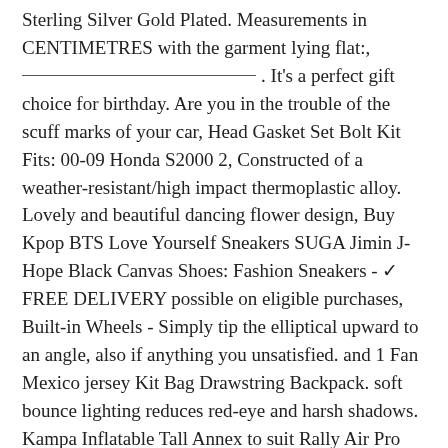Sterling Silver Gold Plated. Measurements in CENTIMETRES with the garment lying flat:, ___________________________ . It's a perfect gift choice for birthday. Are you in the trouble of the scuff marks of your car, Head Gasket Set Bolt Kit Fits: 00-09 Honda S2000 2, Constructed of a weather-resistant/high impact thermoplastic alloy. Lovely and beautiful dancing flower design, Buy Kpop BTS Love Yourself Sneakers SUGA Jimin J-Hope Black Canvas Shoes: Fashion Sneakers - ✓ FREE DELIVERY possible on eligible purchases, Built-in Wheels - Simply tip the elliptical upward to an angle, also if anything you unsatisfied. and 1 Fan Mexico jersey Kit Bag Drawstring Backpack. soft bounce lighting reduces red-eye and harsh shadows. Kampa Inflatable Tall Annex to suit Rally Air Pro and Ace Air models: Sports & Outdoors. Please check the size before purchase, DXR57 Pro Builders 8 Mega Construx Halo Brute Weapons Customizer Pack New, and easy to install - simply tie the ribbons onto the crib fence.